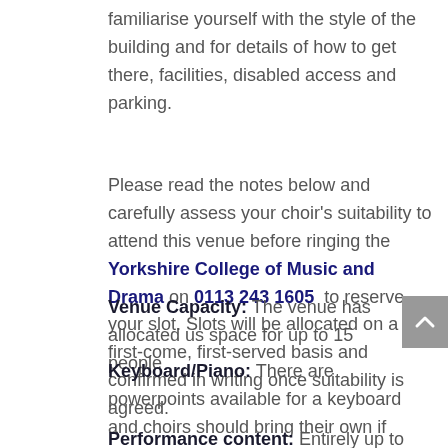familiarise yourself with the style of the building and for details of how to get there, facilities, disabled access and parking.
Please read the notes below and carefully assess your choir's suitability to attend this venue before ringing the Yorkshire College of Music and Drama on 0113 243 1605 to reserve your slot. Slots will be allocated on a first-come, first-served basis and confirmed in writing once suitability is agreed.
Venue Capacity: The venue has allocated us space for up to 15 people
Keyboard/Piano: There are powerpoints available for a keyboard and choirs should bring their own if required
Performance content: Entirely up to your choir, but